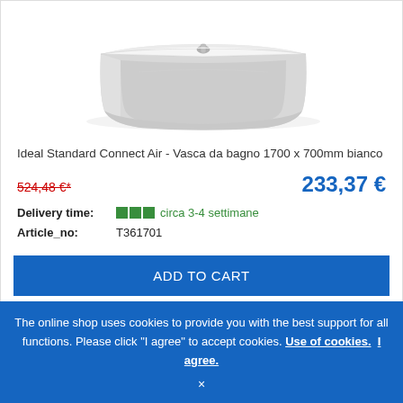[Figure (photo): White rectangular bathtub (Ideal Standard Connect Air) viewed from above at an angle, showing the smooth white acrylic surface and chrome tap fittings.]
Ideal Standard Connect Air - Vasca da bagno 1700 x 700mm bianco
524,48 €*   233,37 €
Delivery time: ■■■ circa 3-4 settimane
Article_no: T361701
ADD TO CART
The online shop uses cookies to provide you with the best support for all functions. Please click "I agree" to accept cookies. Use of cookies.  I agree.
×